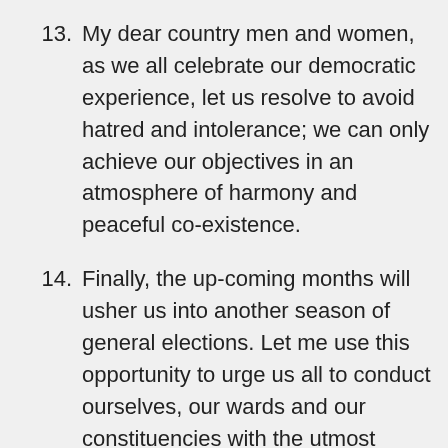13. My dear country men and women, as we all celebrate our democratic experience, let us resolve to avoid hatred and intolerance; we can only achieve our objectives in an atmosphere of harmony and peaceful co-existence.
14. Finally, the up-coming months will usher us into another season of general elections. Let me use this opportunity to urge us all to conduct ourselves, our wards and our constituencies with the utmost sense of fairness, justice and peaceful co-existence such that we will have not only hitch free elections but also a credible and violence free process.
15. In few days to come, I will be joined by many